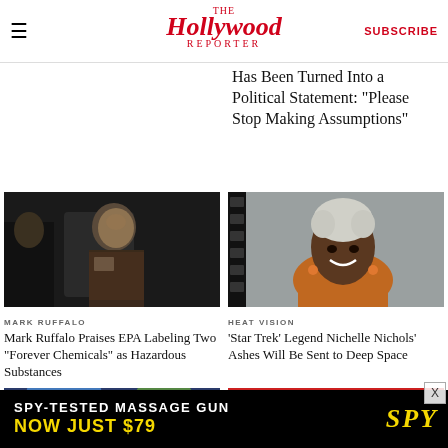The Hollywood Reporter — SUBSCRIBE
Has Been Turned Into a Political Statement: “Please Stop Making Assumptions”
[Figure (photo): Mark Ruffalo in a dark scene holding a small card]
MARK RUFFALO
Mark Ruffalo Praises EPA Labeling Two “Forever Chemicals” as Hazardous Substances
[Figure (photo): Nichelle Nichols smiling, wearing an orange scarf, with film strip border effect]
HEAT VISION
‘Star Trek’ Legend Nichelle Nichols’ Ashes Will Be Sent to Deep Space
[Figure (photo): Partial comic book art image at bottom left]
[Figure (photo): Partial red carpet/festival image at bottom right]
SPY-TESTED MASSAGE GUN
NOW JUST $79